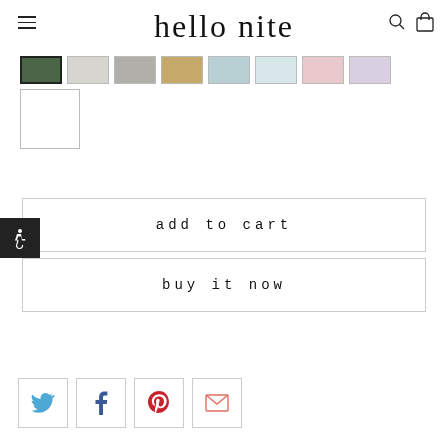hello nite
[Figure (other): Color swatches: dark green (selected), light grey, medium grey, tan/gold, light blue, very light blue, light pink, light lavender, and one white/blank swatch below]
add to cart
buy it now
[Figure (other): Social sharing icons row: Twitter (blue bird), Facebook (blue f), Pinterest (red P), Email (red envelope)]